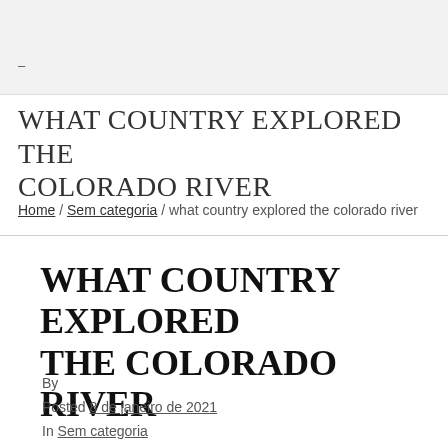–
WHAT COUNTRY EXPLORED THE COLORADO RIVER
Home / Sem categoria / what country explored the colorado river
WHAT COUNTRY EXPLORED THE COLORADO RIVER
By
Posted 8 de janeiro de 2021
In Sem categoria
0
0